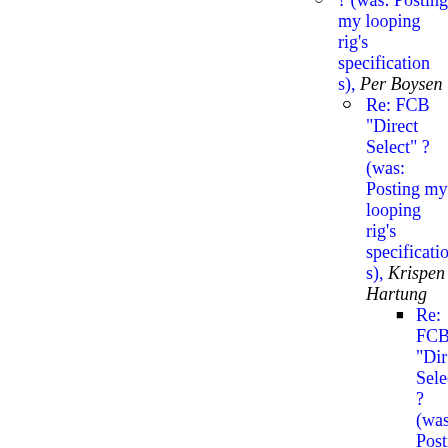Re: FCB "Direct Select" ? (was: Posting my looping rig's specification s), Per Boysen
Re: FCB "Direct Select" ? (was: Posting my looping rig's specification s), Krispen Hartung
Re: FCB "Direct Select" ? (was: Posting my looping rig's specification s), Travis Hartnett
Re: FCB "Direct Select" ? (was: Posting my looping rig's specification s), Per Boysen
Re: FCB...